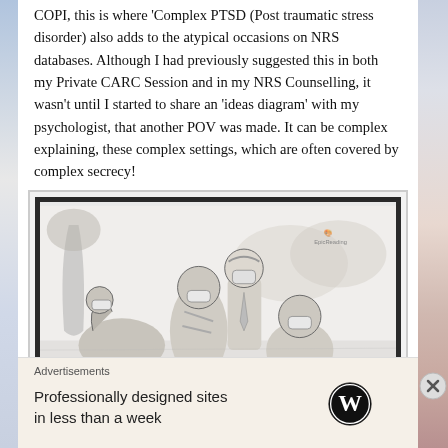COPI, this is where 'Complex PTSD (Post traumatic stress disorder) also adds to the atypical occasions on NRS databases. Although I had previously suggested this in both my Private CARC Session and in my NRS Counselling, it wasn't until I started to share an 'ideas diagram' with my psychologist, that another POV was made. It can be complex explaining, these complex settings, which are often covered by complex secrecy!
[Figure (illustration): Pencil sketch illustration of Winnie the Pooh characters (Eeyore, Tigger, Christopher Robin, and Pooh) wearing face masks, sitting together outdoors near water with trees in the background. Small logo/watermark in upper right corner.]
Advertisements
Professionally designed sites in less than a week